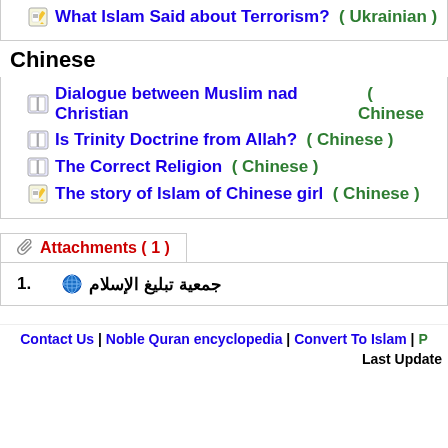📝 What Islam Said about Terrorism?  ( Ukrainian )
Chinese
📖 Dialogue between Muslim nad Christian   ( Chinese
📖 Is Trinity Doctrine from Allah?  ( Chinese )
📖 The Correct Religion  ( Chinese )
📝 The story of Islam of Chinese girl  ( Chinese )
Attachments ( 1 )
1.  🌐 جمعية تبليغ الإسلام
Contact Us | Noble Quran encyclopedia | Convert To Islam |  P  Last Update